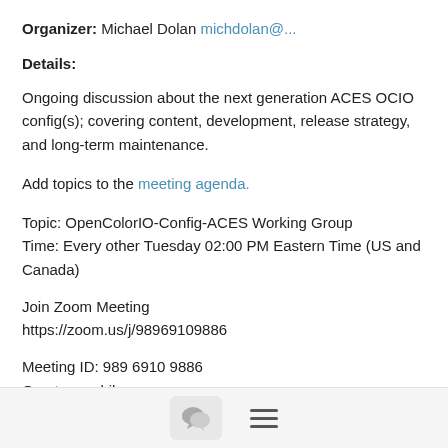Organizer: Michael Dolan michdolan@...
Details:
Ongoing discussion about the next generation ACES OCIO config(s); covering content, development, release strategy, and long-term maintenance.
Add topics to the meeting agenda.
Topic: OpenColorIO-Config-ACES Working Group
Time: Every other Tuesday 02:00 PM Eastern Time (US and Canada)
Join Zoom Meeting
https://zoom.us/j/98969109886
Meeting ID: 989 6910 9886
One tap mobile
+16465588656,,98969109886# US (New York)
[Figure (other): Bottom navigation bar with chat bubble icon button and hamburger menu icon]